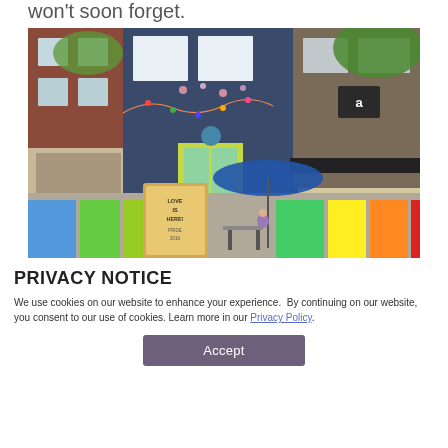won't soon forget.
[Figure (photo): Colorful street scene with a cafe/shop front decorated with rainbow-colored panels and festive banners. A sign reads 'LOVE IS HERE! PRIDE 2016'. People are seated at outdoor tables under a blue umbrella.]
PRIVACY NOTICE
We use cookies on our website to enhance your experience. By continuing on our website, you consent to our use of cookies. Learn more in our Privacy Policy.
Accept